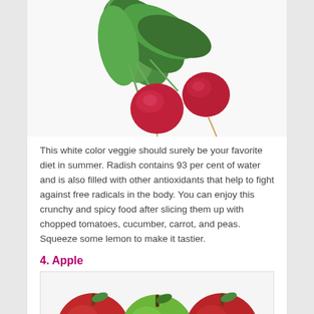[Figure (photo): Photo of fresh radishes with green leafy tops on a white background]
This white color veggie should surely be your favorite diet in summer. Radish contains 93 per cent of water and is also filled with other antioxidants that help to fight against free radicals in the body. You can enjoy this crunchy and spicy food after slicing them up with chopped tomatoes, cucumber, carrot, and peas. Squeeze some lemon to make it tastier.
4. Apple
[Figure (photo): Photo of three apples: two red and one green, arranged side by side on a white background]